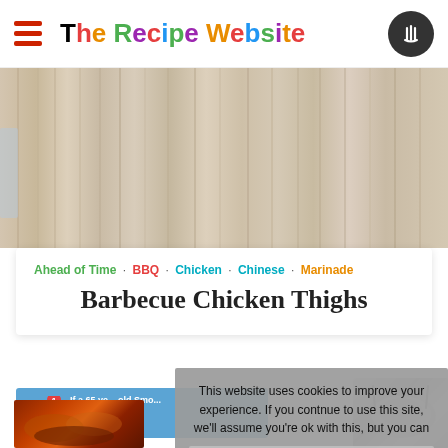The Recipe Website
[Figure (photo): Wood texture background banner image]
Ahead of Time · BBQ · Chicken · Chinese · Marinade
Barbecue Chicken Thighs
[Figure (photo): Advertisement banner partially visible with envelope icon]
[Figure (photo): Food photo of barbecue chicken thighs]
This website uses cookies to improve your experience. If you contnue to use this site, we'll assume you're ok with this, but you can
Privacy & Cookies Policy